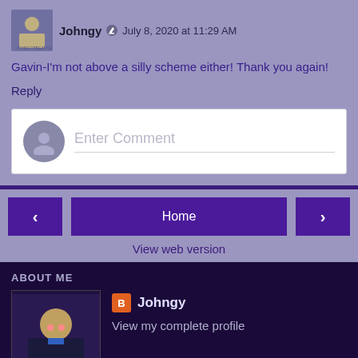Johngy · July 8, 2020 at 11:29 AM
Gavin-I'm not above a silly scheme either! Thank you again!
Reply
Enter Comment
Home
View web version
ABOUT ME
Johngy
View my complete profile
Powered by Blogger.